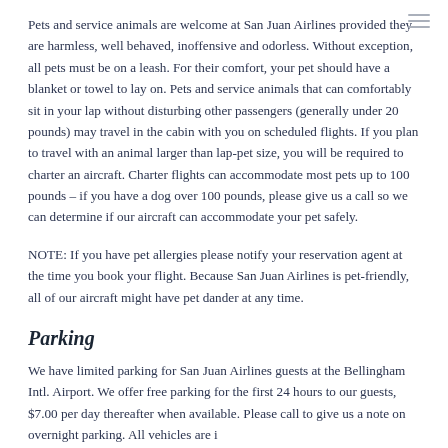Pets and service animals are welcome at San Juan Airlines provided they are harmless, well behaved, inoffensive and odorless. Without exception, all pets must be on a leash. For their comfort, your pet should have a blanket or towel to lay on. Pets and service animals that can comfortably sit in your lap without disturbing other passengers (generally under 20 pounds) may travel in the cabin with you on scheduled flights. If you plan to travel with an animal larger than lap-pet size, you will be required to charter an aircraft. Charter flights can accommodate most pets up to 100 pounds – if you have a dog over 100 pounds, please give us a call so we can determine if our aircraft can accommodate your pet safely.
NOTE: If you have pet allergies please notify your reservation agent at the time you book your flight. Because San Juan Airlines is pet-friendly, all of our aircraft might have pet dander at any time.
Parking
We have limited parking for San Juan Airlines guests at the Bellingham Intl. Airport. We offer free parking for the first 24 hours to our guests, $7.00 per day thereafter when available. Please call to give us a note on overnight parking. All vehicles are...